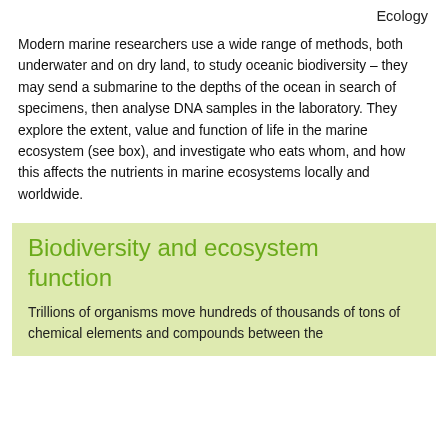Ecology
Modern marine researchers use a wide range of methods, both underwater and on dry land, to study oceanic biodiversity – they may send a submarine to the depths of the ocean in search of specimens, then analyse DNA samples in the laboratory. They explore the extent, value and function of life in the marine ecosystem (see box), and investigate who eats whom, and how this affects the nutrients in marine ecosystems locally and worldwide.
Biodiversity and ecosystem function
Trillions of organisms move hundreds of thousands of tons of chemical elements and compounds between the